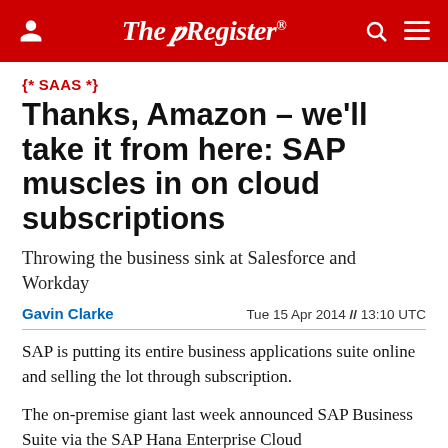The Register
{* SAAS *}
Thanks, Amazon – we'll take it from here: SAP muscles in on cloud subscriptions
Throwing the business sink at Salesforce and Workday
Gavin Clarke   Tue 15 Apr 2014 // 13:10 UTC
SAP is putting its entire business applications suite online and selling the lot through subscription.
The on-premise giant last week announced SAP Business Suite via the SAP Hana Enterprise Cloud